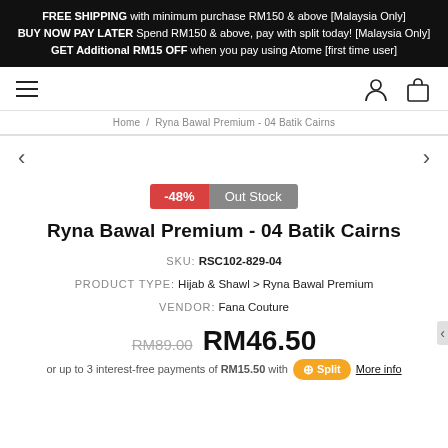FREE SHIPPING with minimum purchase RM150 & above [Malaysia Only]
BUY NOW PAY LATER Spend RM150 & above, pay with split today! [Malaysia Only]
GET Additional RM15 OFF when you pay using Atome [first time user]
Home / Ryna Bawal Premium - 04 Batik Cairns
-48% Out Stock
Ryna Bawal Premium - 04 Batik Cairns
SKU: RSC102-829-04
PRODUCT TYPE: Hijab & Shawl > Ryna Bawal Premium
VENDOR: Fana Couture
RM89.00 RM46.50
or up to 3 interest-free payments of RM15.50 with Split More info